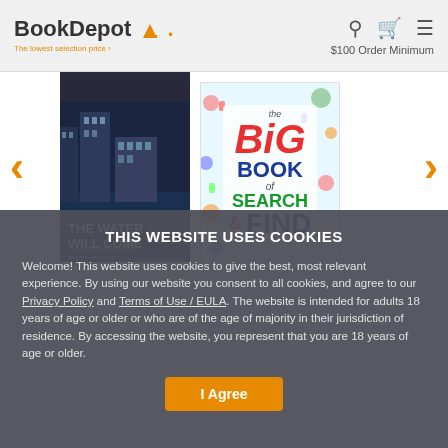BookDepot. The lowest selection price. [Search] [Cart] [Menu] $100 Order Minimum
[Figure (screenshot): Book carousel showing two books: 'The Water Will Come' and 'The Big Book of Search & Find', with left and right orange navigation arrows]
THIS WEBSITE USES COOKIES
Welcome! This website uses cookies to give the best, most relevant experience. By using our website you consent to all cookies, and agree to our Privacy Policy and Terms of Use / EULA. The website is intended for adults 18 years of age or older or who are of the age of majority in their jurisdiction of residence. By accessing the website, you represent that you are 18 years of age or older.
I Agree